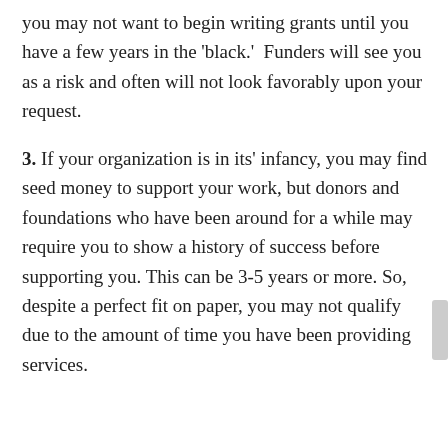you may not want to begin writing grants until you have a few years in the 'black.' Funders will see you as a risk and often will not look favorably upon your request.
3. If your organization is in its' infancy, you may find seed money to support your work, but donors and foundations who have been around for a while may require you to show a history of success before supporting you. This can be 3-5 years or more. So, despite a perfect fit on paper, you may not qualify due to the amount of time you have been providing services.